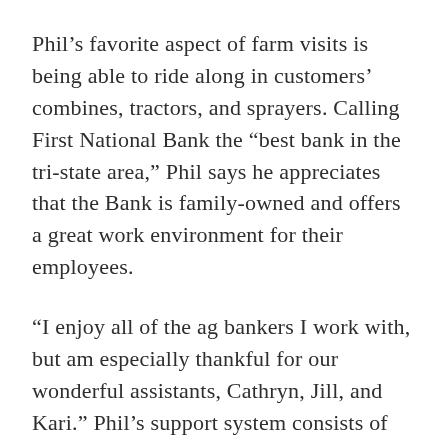Phil's favorite aspect of farm visits is being able to ride along in customers' combines, tractors, and sprayers. Calling First National Bank the “best bank in the tri-state area,” Phil says he appreciates that the Bank is family-owned and offers a great work environment for their employees.
“I enjoy all of the ag bankers I work with, but am especially thankful for our wonderful assistants, Cathryn, Jill, and Kari.” Phil’s support system consists of people both at home and at work. At home, he is supported by his wife, Jen, and their three children.